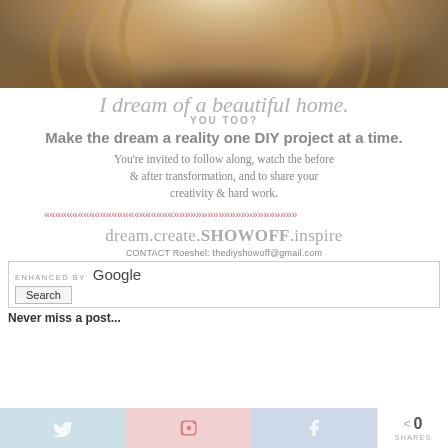[Figure (photo): Photo of a woman with blonde highlighted hair, cropped to show hair and shoulders]
I dream of a beautiful home. YOU TOO? Make the dream a reality one DIY project at a time. You're invited to follow along, watch the before & after transformation, and to share your creativity & hard work.
dream.create.SHOWOFF.inspire
CONTACT Roeshel: thediyshowoff@gmail.com
ENHANCED BY Google Search
Never miss a post...